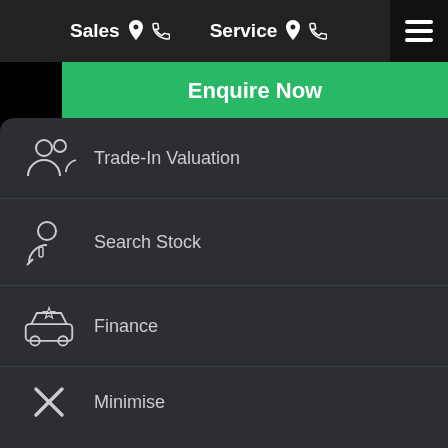Sales  Service
Enquire Now
Trade-In Valuation
Search Stock
Finance
Minimise
Comments